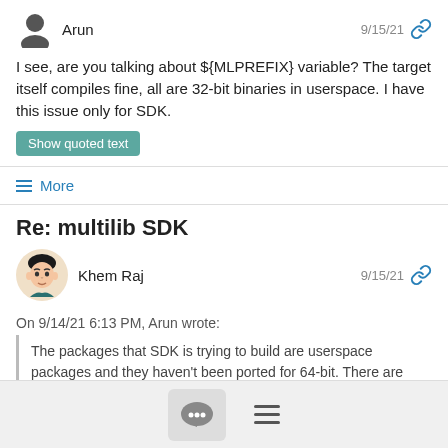[Figure (illustration): Generic user silhouette avatar icon with username 'Arun' and date '9/15/21' with link icon]
I see, are you talking about ${MLPREFIX} variable? The target itself compiles fine, all are 32-bit binaries in userspace. I have this issue only for SDK.
Show quoted text
≡ More
Re: multilib SDK
[Figure (illustration): Avatar of Khem Raj (illustrated face) with username 'Khem Raj' and date '9/15/21' with link icon]
On 9/14/21 6:13 PM, Arun wrote:
The packages that SDK is trying to build are userspace packages and they haven't been ported for 64-bit. There are quite a few of them and short of fixing 64-bit compile